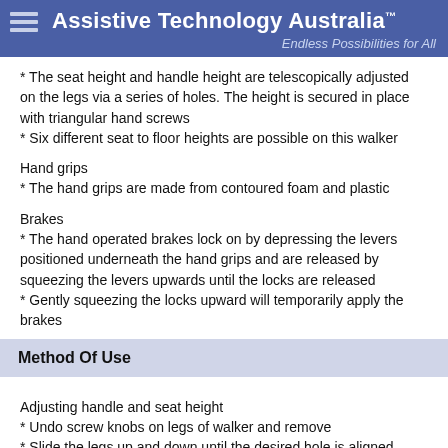Assistive Technology Australia™
Endless Possibilities for All
* The seat height and handle height are telescopically adjusted on the legs via a series of holes. The height is secured in place with triangular hand screws
* Six different seat to floor heights are possible on this walker
Hand grips
* The hand grips are made from contoured foam and plastic
Brakes
* The hand operated brakes lock on by depressing the levers positioned underneath the hand grips and are released by squeezing the levers upwards until the locks are released
* Gently squeezing the locks upward will temporarily apply the brakes
Method Of Use
Adjusting handle and seat height
* Undo screw knobs on legs of walker and remove
* Slide the legs up and down until the desired hole is aligned. Ensure the same numbered hole is chosen on each leg
* Reinsert the screw knobs and hand tighten